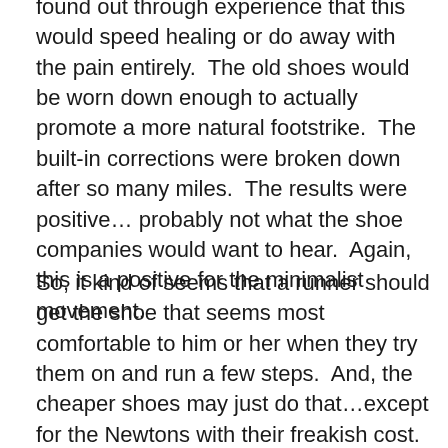found out through experience that this would speed healing or do away with the pain entirely.  The old shoes would be worn down enough to actually promote a more natural footstrike.  The built-in corrections were broken down after so many miles.  The results were positive… probably not what the shoe companies would want to hear.  Again, this is a positive for the minimalist movement.
So, it kind of seems that a runner should get the shoe that seems most comfortable to him or her when they try them on and run a few steps.  And, the cheaper shoes may just do that…except for the Newtons with their freakish cost.  But, the Newtons may last a lot longer than the other shoes.  I do not know that at this writing because I am presently using Newtons on and off so the mileage is not very high.  I do know  that I have just put 1000 miles on my first pair of Nike Frees…and I am still using those on